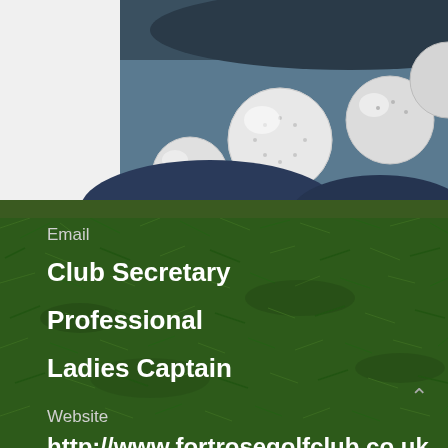[Figure (photo): Close-up photo of white golf balls held in hands, with a basket/bucket visible in the background]
Email
Club Secretary
Professional
Ladies Captain
Website
http://www.fortrosegolfclub.co.uk